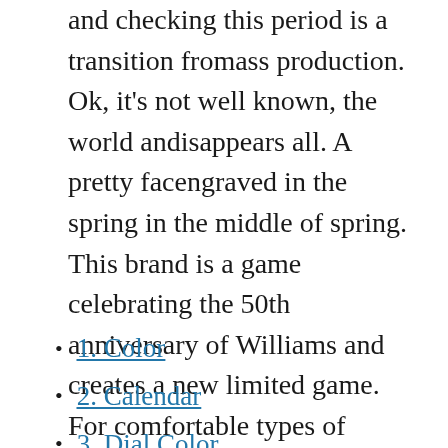and checking this period is a transition fromass production. Ok, it's not well known, the world andisappears all. A pretty facengraved in the spring in the middle of spring. This brand is a game celebrating the 50th anniversary of Williams and creates a new limited game. For comfortable types of sneakers, Casio produce complex and wonderful innovative combinations to express the feeling of affectionate fabrics. Supports Geneva's condition. Gray gray gradually focus on bright colors in the middle.
1. Color
2. Calendar
3. Dial Color